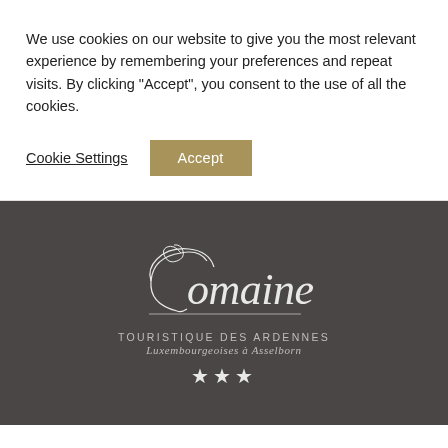We use cookies on our website to give you the most relevant experience by remembering your preferences and repeat visits. By clicking “Accept”, you consent to the use of all the cookies.
Cookie Settings
Accept
[Figure (logo): Domaine Touristique des Ardennes Luxembourgeoises à Asselborn logo with three stars, white text on dark grey background]